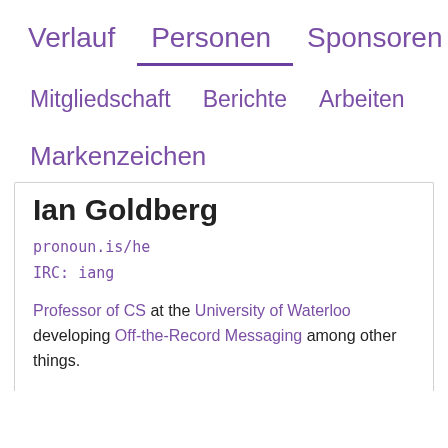Verlauf   Personen   Sponsoren
Mitgliedschaft   Berichte   Arbeiten
Markenzeichen
Ian Goldberg
pronoun.is/he
IRC: iang
Professor of CS at the University of Waterloo developing Off-the-Record Messaging among other things.